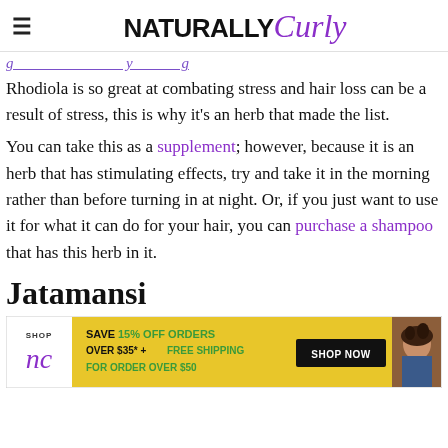NATURALLY Curly
[partial visible text in purple/italic — continuation from previous page]
Rhodiola is so great at combating stress and hair loss can be a result of stress, this is why it's an herb that made the list.
You can take this as a supplement; however, because it is an herb that has stimulating effects, try and take it in the morning rather than before turning in at night. Or, if you just want to use it for what it can do for your hair, you can purchase a shampoo that has this herb in it.
Jatamansi
[Figure (infographic): Shop NC advertisement banner: SAVE 15% OFF ORDERS OVER $35* + FREE SHIPPING FOR ORDER OVER $50, SHOP NOW button, with NC logo and person with curly hair photo]